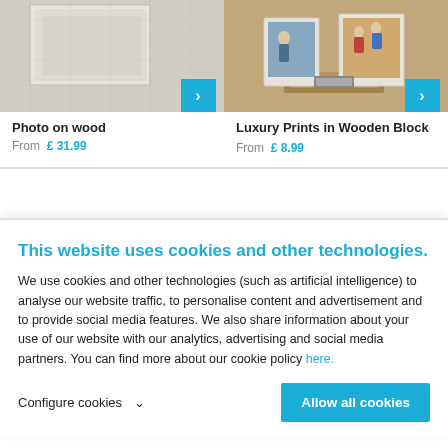[Figure (photo): Photo on wood product image — printed photo on wood planks texture, with blue arrow navigation button at bottom right]
Photo on wood
From  £ 31.99
[Figure (photo): Luxury Prints in Wooden Block product image — photos displayed in wooden block holders, with blue arrow navigation button at bottom right]
Luxury Prints in Wooden Block
From  £ 8.99
This website uses cookies and other technologies.
We use cookies and other technologies (such as artificial intelligence) to analyse our website traffic, to personalise content and advertisement and to provide social media features. We also share information about your use of our website with our analytics, advertising and social media partners. You can find more about our cookie policy here.
Configure cookies
Allow all cookies